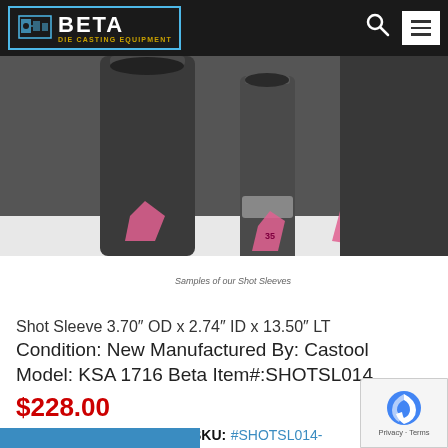BETA Die Casting Equipment
[Figure (photo): Product photo showing metal shot sleeves standing upright with pink tags, along with a caption 'Samples of our Shot Sleeves']
Shot Sleeve 3.70″ OD x 2.74″ ID x 13.50″ LT
Condition: New Manufactured By: Castool Model: KSA 1716 Beta Item#:SHOTSL014
$228.00
Categories: Shot Sleeves | SKU: #SHOTSL014-